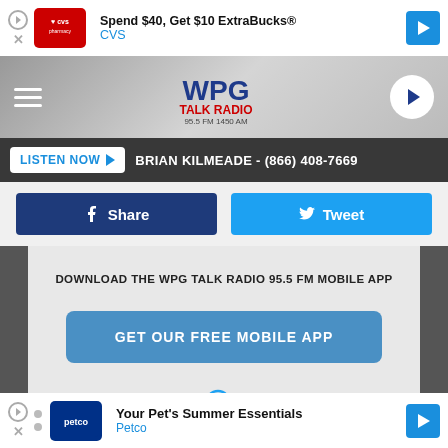[Figure (screenshot): CVS Pharmacy advertisement banner: 'Spend $40, Get $10 ExtraBucks® CVS']
[Figure (logo): WPG Talk Radio 95.5 FM / 1450 AM logo in the navigation header]
LISTEN NOW  BRIAN KILMEADE - (866) 408-7669
Share
Tweet
DOWNLOAD THE WPG TALK RADIO 95.5 FM MOBILE APP
GET OUR FREE MOBILE APP
Also listen on:  amazon alexa
[Figure (screenshot): Petco advertisement banner: 'Your Pet's Summer Essentials Petco']